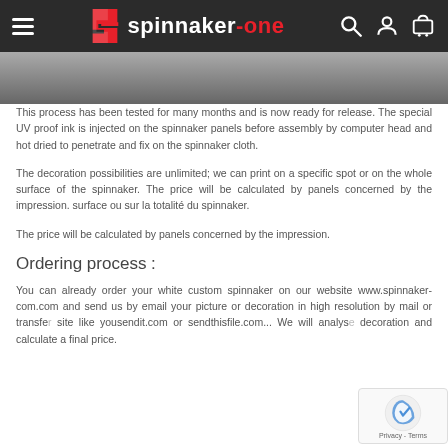spinnaker-one navigation header
[Figure (photo): Hero image strip showing partial view of a spinnaker sail, dark grey background]
This process has been tested for many months and is now ready for release. The special UV proof ink is injected on the spinnaker panels before assembly by computer head and hot dried to penetrate and fix on the spinnaker cloth.
The decoration possibilities are unlimited; we can print on a specific spot or on the whole surface of the spinnaker. The price will be calculated by panels concerned by the impression. surface ou sur la totalité du spinnaker.
The price will be calculated by panels concerned by the impression.
Ordering process :
You can already order your white custom spinnaker on our website www.spinnaker-com.com and send us by email your picture or decoration in high resolution by mail or transfer site like yousendit.com or sendthisfile.com... We will analyse decoration and calculate a final price.